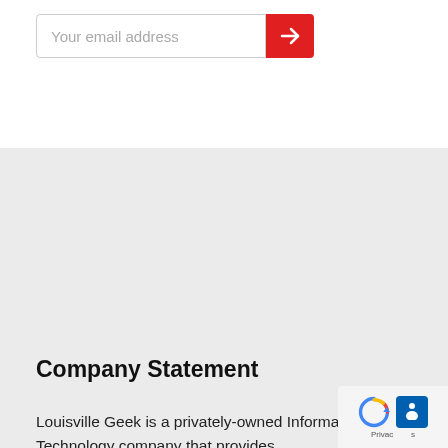[Figure (other): Email input field with placeholder text 'Your email address' and a red submit button with a right arrow icon]
Company Statement
Louisville Geek is a privately-owned Information Technology company that provides comprehensive managed IT services for SMBs and organizations throughout Kentucky and the greater US.